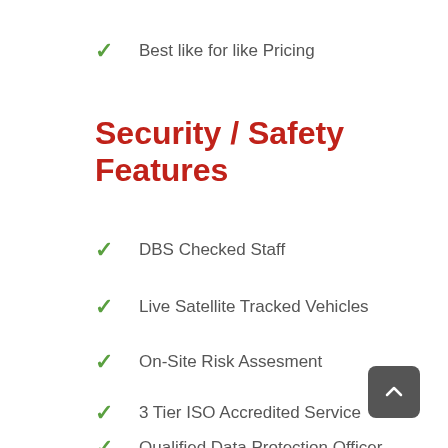Best like for like Pricing
Security / Safety Features
DBS Checked Staff
Live Satellite Tracked Vehicles
On-Site Risk Assesment
3 Tier ISO Accredited Service
Qualified Data Protection Officer